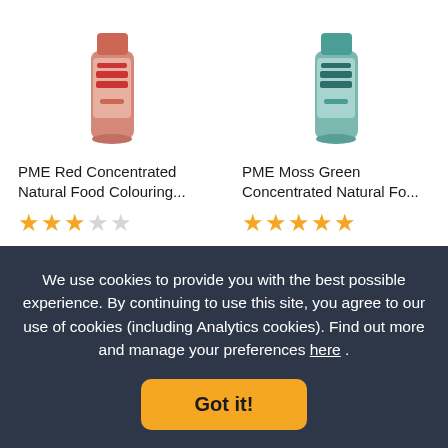[Figure (photo): PME Red Concentrated Natural Food Colouring bottle (pink/red, 25ml)]
PME Red Concentrated Natural Food Colouring...
★★★☆☆ (3 of 5 stars)
£1.99
+ Add
[Figure (photo): PME Moss Green Concentrated Natural Food Colouring bottle (teal, 25ml)]
PME Moss Green Concentrated Natural Fo...
★★★★★ (5 of 5 stars)
£1.99
+ Add
We use cookies to provide you with the best possible experience. By continuing to use this site, you agree to our use of cookies (including Analytics cookies). Find out more and manage your preferences here .
Got it!